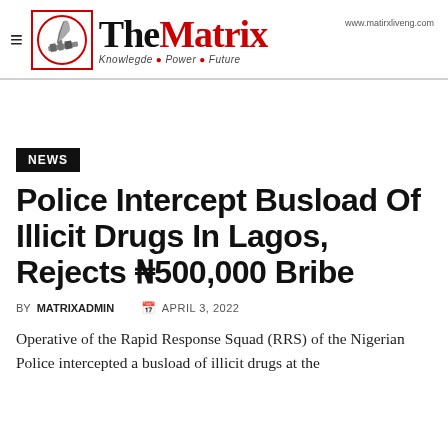The Matrix — Knowledge • Power • Future — www.matirxliveng.com
NEWS
Police Intercept Busload Of Illicit Drugs In Lagos, Rejects N500,000 Bribe
BY MATRIXADMIN   APRIL 3, 2022
Operative of the Rapid Response Squad (RRS) of the Nigerian Police intercepted a busload of illicit drugs at the